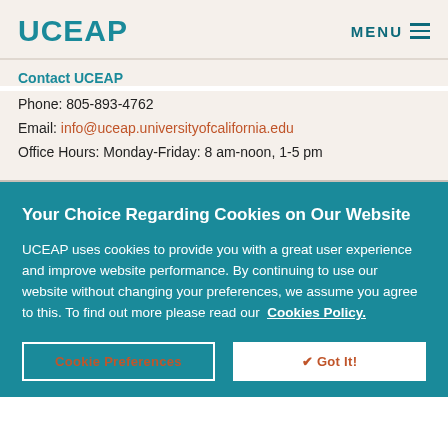UCEAP | MENU
Contact UCEAP
Phone: 805-893-4762
Email: info@uceap.universityofcalifornia.edu
Office Hours: Monday-Friday: 8 am-noon, 1-5 pm
Your Choice Regarding Cookies on Our Website
UCEAP uses cookies to provide you with a great user experience and improve website performance. By continuing to use our website without changing your preferences, we assume you agree to this. To find out more please read our  Cookies Policy.
Cookie Preferences | ✔ Got It!